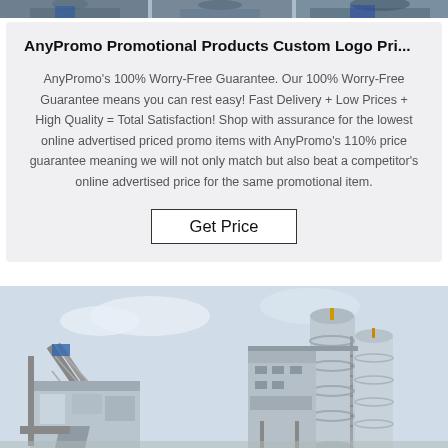[Figure (photo): Top strip of industrial machinery photo, partially visible]
AnyPromo Promotional Products Custom Logo Pri...
AnyPromo's 100% Worry-Free Guarantee. Our 100% Worry-Free Guarantee means you can rest easy! Fast Delivery + Low Prices + High Quality = Total Satisfaction! Shop with assurance for the lowest online advertised priced promo items with AnyPromo's 110% price guarantee meaning we will not only match but also beat a competitor's online advertised price for the same promotional item.
Get Price
[Figure (photo): Industrial concrete batching plant or asphalt mixing plant with silos and conveyors against a light sky]